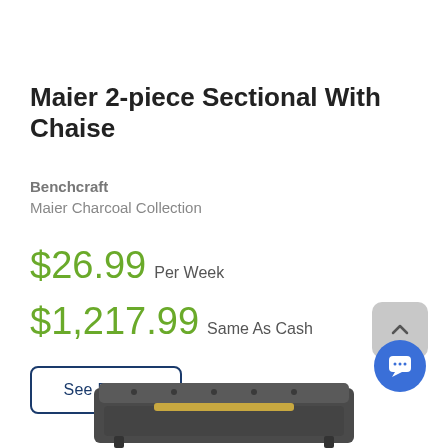Maier 2-piece Sectional With Chaise
Benchcraft
Maier Charcoal Collection
$26.99 Per Week
$1,217.99 Same As Cash
See Details
[Figure (photo): Bottom portion of a charcoal sectional sofa visible at the bottom of the page]